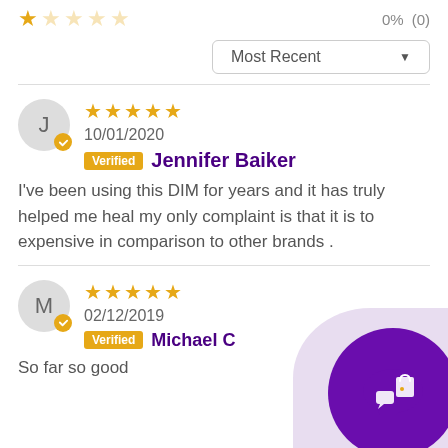[Figure (other): Star rating row showing 1 filled star and 4 empty stars with 0% (0) rating count]
Most Recent ▼
J
10/01/2020
Verified Jennifer Baiker
I've been using this DIM for years and it has truly helped me heal my only complaint is that it is to expensive in comparison to other brands .
M
02/12/2019
Verified Michael C
So far so good